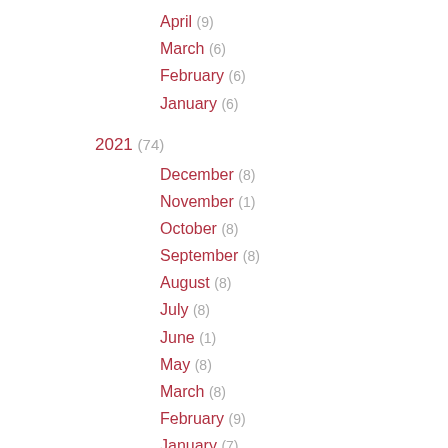April (9)
March (6)
February (6)
January (6)
2021 (74)
December (8)
November (1)
October (8)
September (8)
August (8)
July (8)
June (1)
May (8)
March (8)
February (9)
January (7)
2020 (101)
December (9)